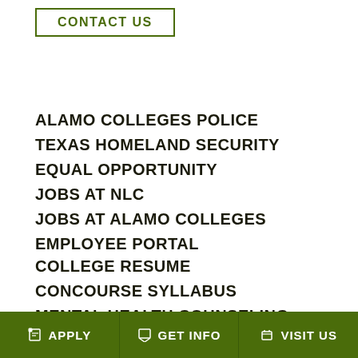CONTACT US
ALAMO COLLEGES POLICE
TEXAS HOMELAND SECURITY
EQUAL OPPORTUNITY
JOBS AT NLC
JOBS AT ALAMO COLLEGES
EMPLOYEE PORTAL
COLLEGE RESUME
CONCOURSE SYLLABUS
MENTAL HEALTH COUNSELING
APPLY   GET INFO   VISIT US